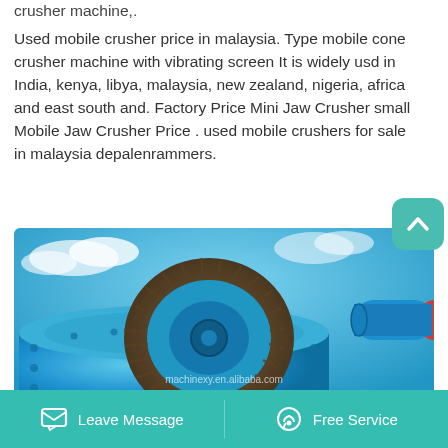crusher machine,.
Used mobile crusher price in malaysia. Type mobile cone crusher machine with vibrating screen It is widely usd in India, kenya, libya, malaysia, new zealand, nigeria, africa and east south and. Factory Price Mini Jaw Crusher small Mobile Jaw Crusher Price . used mobile crushers for sale in malaysia depalenrammers.
[Figure (photo): Close-up photograph of a large blue industrial ball mill / crusher machine with a large gear ring, against a blue sky background. Watermark: machinexy.en.alibaba.com]
Leave Message    Free Service